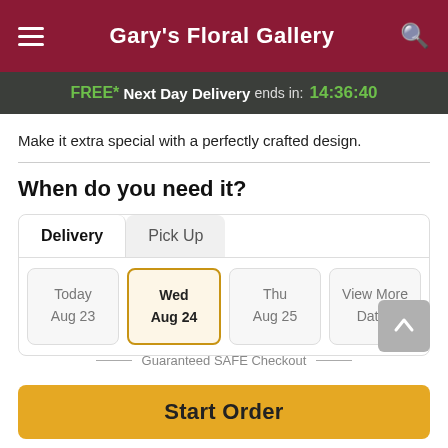Gary's Floral Gallery
FREE* Next Day Delivery ends in: 14:36:40
Make it extra special with a perfectly crafted design.
When do you need it?
Delivery | Pick Up
Today Aug 23 | Wed Aug 24 | Thu Aug 25 | View More Dates
Guaranteed SAFE Checkout
Start Order